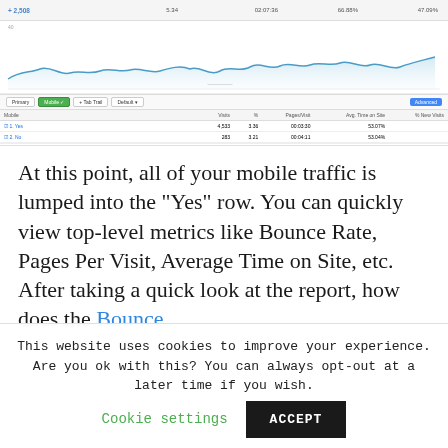[Figure (screenshot): Google Analytics screenshot showing a line chart of website traffic over time with a blue area/line chart, and a data table below showing metrics including Visits, Pages/Visit, Avg. Time on Site, and % New Visits with two rows of data.]
At this point, all of your mobile traffic is lumped into the “Yes” row. You can quickly view top-level metrics like Bounce Rate, Pages Per Visit, Average Time on Site, etc. After taking a quick look at the report, how does the Bounce
This website uses cookies to improve your experience. Are you ok with this? You can always opt-out at a later time if you wish. Cookie settings ACCEPT